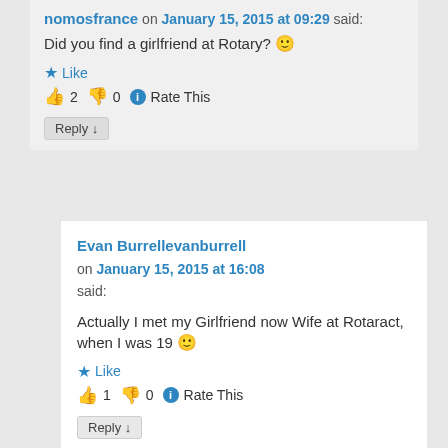nomosfrance on January 15, 2015 at 09:29 said:
Did you find a girlfriend at Rotary? 🙂
★ Like
👍 2  👎 0  ℹ Rate This
Reply ↓
Evan Burrellevanburrell on January 15, 2015 at 16:08 said:
Actually I met my Girlfriend now Wife at Rotaract, when I was 19 🙂
★ Like
👍 1  👎 0  ℹ Rate This
Reply ↓